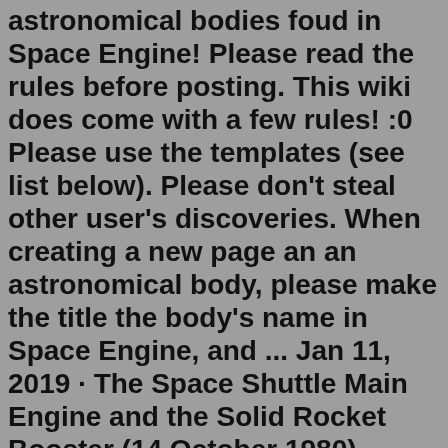astronomical bodies foud in Space Engine! Please read the rules before posting. This wiki does come with a few rules! :0 Please use the templates (see list below). Please don't steal other user's discoveries. When creating a new page an an astronomical body, please make the title the body's name in Space Engine, and ... Jan 11, 2019 · The Space Shuttle Main Engine and the Solid Rocket Booster (14 October 1980) Block III SSME Upgrade Project Overview, July 2000 (700~ kb PDF) Space Shuttle Main Engine: The First Ten Years by Robert E. Biggs (Development of SSME to STS-1) Space Shuttle Main Engine: The Second Decade by Robert E. Biggs Space Shuttle Main Engine: The First Twenty ... Download Space Engineers. A sandbox survival and deep space exploration. Virus FreeNov 29, 2012 · Most deep space probes require 600 to 700 watts of power, so it will still take some time before an engine like this produces enough power. This is the first time that a nuclear reactor system was tested to power a spacecraft in the USA since 1965. About This Content...